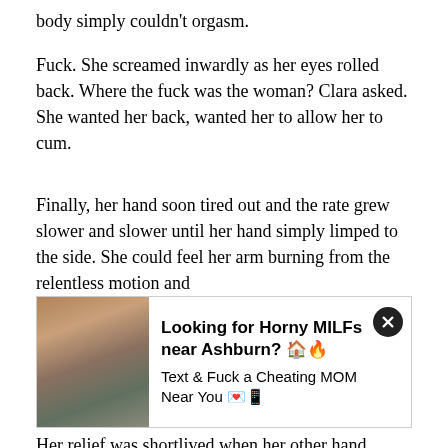body simply couldn't orgasm.
Fuck. She screamed inwardly as her eyes rolled back. Where the fuck was the woman? Clara asked. She wanted her back, wanted her to allow her to cum.
Finally, her hand soon tired out and the rate grew slower and slower until her hand simply limped to the side. She could feel her arm burning from the relentless motion and t...s...t...
[Figure (photo): Advertisement banner with woman photo: Looking for Horny MILFs near Ashburn? Text & Fuck a Cheating MOM Near You]
Her relief was shortlived when her other hand grabbed
[Figure (photo): Advertisement banner with woman photo: Erasmus Girls Want to Fuck! Send a Message and Fuck for FREE]
sprout.